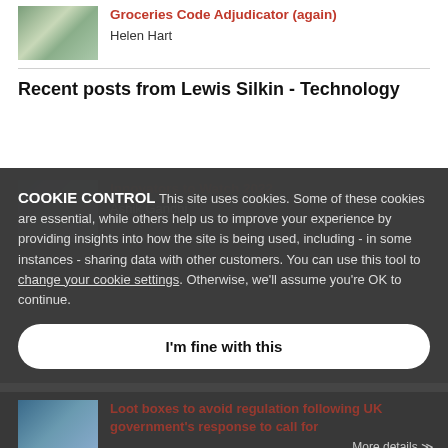[Figure (photo): Grocery store aisle thumbnail image]
Groceries Code Adjudicator (again)
Helen Hart
Recent posts from Lewis Silkin - Technology
[Figure (photo): Innovation related thumbnail image]
Innovators to Watch 2022
Ashik Gandhi
COOKIE CONTROL
This site uses cookies. Some of these cookies are essential, while others help us to improve your experience by providing insights into how the site is being used, including - in some instances - sharing data with other customers. You can use this tool to change your cookie settings. Otherwise, we'll assume you're OK to continue.
I'm fine with this
[Figure (photo): Loot boxes / gaming related thumbnail image]
Loot boxes to avoid regulation following UK government's response to call for
More details